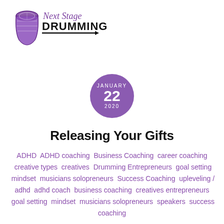[Figure (logo): Next Stage Drumming logo with a djembe drum illustration in purple and the text 'Next Stage DRUMMING' in purple and black script/bold fonts with an arrow underline]
[Figure (infographic): Purple circle with white text showing date: JANUARY 22 2020]
Releasing Your Gifts
ADHD  ADHD coaching  Business Coaching  career coaching  creative types  creatives  Drumming  Entrepreneurs  goal setting  mindset  musicians  solopreneurs  Success Coaching  upleveling /  adhd  adhd coach  business coaching  creatives  entrepreneurs  goal setting  mindset  musicians  solopreneurs  speakers  success coaching